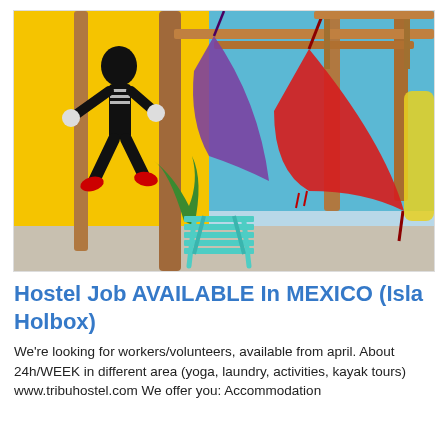[Figure (photo): Colorful outdoor hostel area with wooden poles, hammocks (red and purple), a turquoise folding chair, yellow wall with black painted mural figure, and blue building in background.]
Hostel Job AVAILABLE In MEXICO (Isla Holbox)
We're looking for workers/volunteers, available from april. About 24h/WEEK in different area (yoga, laundry, activities, kayak tours) www.tribuhostel.com We offer you: Accommodation